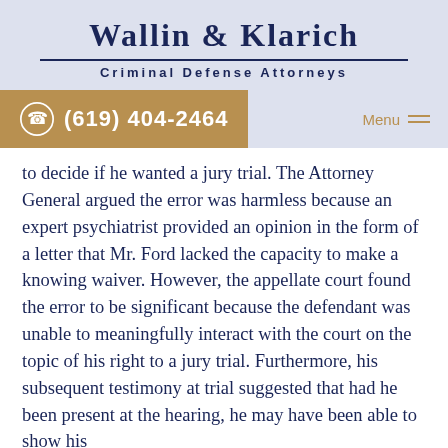WALLIN & KLARICH
CRIMINAL DEFENSE ATTORNEYS
[Figure (logo): Phone icon in circle with phone number (619) 404-2464 on gold/tan background, and Menu button on the right]
to decide if he wanted a jury trial. The Attorney General argued the error was harmless because an expert psychiatrist provided an opinion in the form of a letter that Mr. Ford lacked the capacity to make a knowing waiver. However, the appellate court found the error to be significant because the defendant was unable to meaningfully interact with the court on the topic of his right to a jury trial. Furthermore, his subsequent testimony at trial suggested that had he been present at the hearing, he may have been able to show his